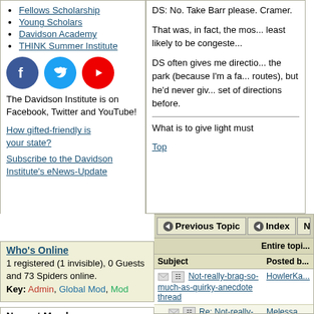Fellows Scholarship
Young Scholars
Davidson Academy
THINK Summer Institute
[Figure (logo): Facebook, Twitter, YouTube social media icons]
The Davidson Institute is on Facebook, Twitter and YouTube!
How gifted-friendly is your state?
Subscribe to the Davidson Institute's eNews-Update
DS: No. Take Barr please. Cramer.

That was, in fact, the mos... least likely to be congeste...

DS often gives me directio... the park (because I'm a fa... routes), but he'd never giv... set of directions before.

What is to give light must
Top
Previous Topic   Index   Next
Who's Online
1 registered (1 invisible), 0 Guests and 73 Spiders online.
Key: Admin, Global Mod, Mod
Newest Members
Mvdnest, Ally, Callistro, Marioasn, Tangerine
11196 Registered Users
| Subject | Posted b... |
| --- | --- |
| Not-really-brag-so-much-as-quirky-anecdote thread | HowlerKa... |
| Re: Not-really-brag-so-much-as-quirky-anecdote | Melessa |